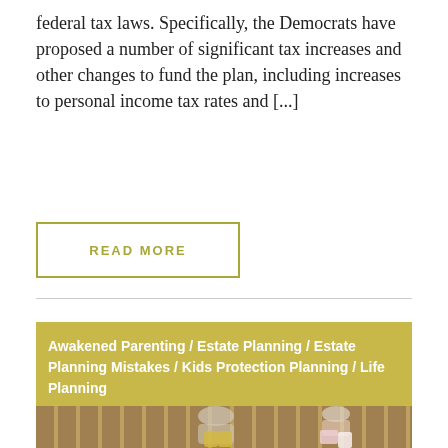federal tax laws. Specifically, the Democrats have proposed a number of significant tax increases and other changes to fund the plan, including increases to personal income tax rates and [...]
READ MORE
Awakened Parenting / Estate Planning / Estate Planning Mistakes / Kids Protection Planning / Life Planning
[Figure (photo): Two young children walking hand-in-hand on a wooden boardwalk or bridge, viewed from behind. One child is wearing yellow pants and a light top, the other is in a floral skirt with white leggings. There is a fence/railing visible and green foliage on the left side.]